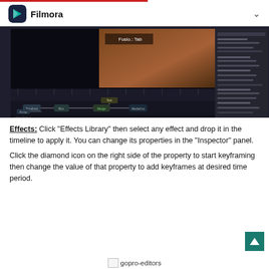Filmora
[Figure (screenshot): Screenshot of DaVinci Resolve Fusion tab showing node-based compositing interface with a video clip of a person and various effect nodes connected in the node editor]
Effects: Click "Effects Library" then select any effect and drop it in the timeline to apply it. You can change its properties in the "Inspector" panel.
Click the diamond icon on the right side of the property to start keyframing then change the value of that property to add keyframes at desired time period.
[Figure (logo): gopro-editors logo/image at bottom of page]